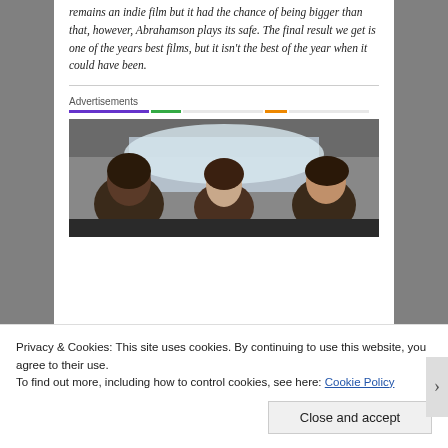remains an indie film but it had the chance of being bigger than that, however, Abrahamson plays its safe. The final result we get is one of the years best films, but it isn't the best of the year when it could have been.
Advertisements
[Figure (photo): Photo of three young women/girls sitting in a car, viewed from inside the vehicle looking toward the windshield.]
Privacy & Cookies: This site uses cookies. By continuing to use this website, you agree to their use. To find out more, including how to control cookies, see here: Cookie Policy